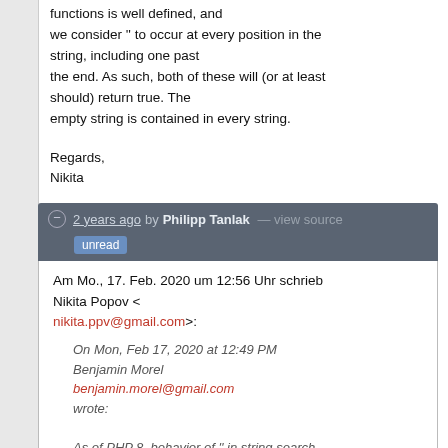functions is well defined, and we consider '' to occur at every position in the string, including one past the end. As such, both of these will (or at least should) return true. The empty string is contained in every string.
Regards,
Nikita
2 years ago by Philipp Tanlak — view source
unread
Am Mo., 17. Feb. 2020 um 12:56 Uhr schrieb Nikita Popov < nikita.ppv@gmail.com>:
On Mon, Feb 17, 2020 at 12:49 PM Benjamin Morel benjamin.morel@gmail.com wrote:
As of PHP 8, behavior of '' in string search functions is well defined,